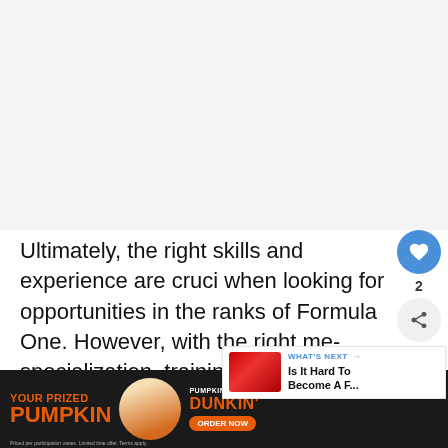[Figure (other): Blank light gray area representing image/content region at top of page]
Ultimately, the right skills and experience are crucial when looking for opportunities in the ranks of Formula One. However, with the right med specialization, training programs, and exp can work your way up! As we mentioned earlier, do ed
[Figure (infographic): What's Next panel showing thumbnail of racing car with text: 'Is It Hard To Become A F...']
[Figure (infographic): Dunkin' Pumpkin Cream Cold Brew advertisement banner at bottom of page with orange text 'YOUR PRIZED PUMPKIN' and Dunkin' branding]